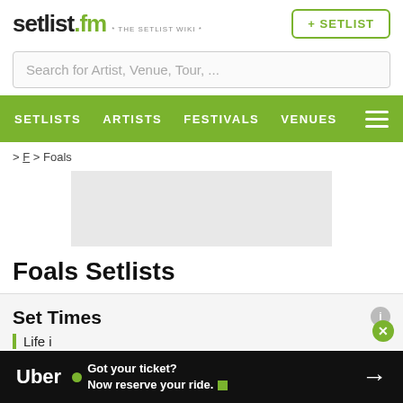setlist.fm * THE SETLIST WIKI * + SETLIST
Search for Artist, Venue, Tour, ...
SETLISTS  ARTISTS  FESTIVALS  VENUES
> F > Foals
[Figure (other): Gray advertisement placeholder box]
Foals Setlists
Set Times
Life i
[Figure (other): Uber advertisement banner: Got your ticket? Now reserve your ride.]